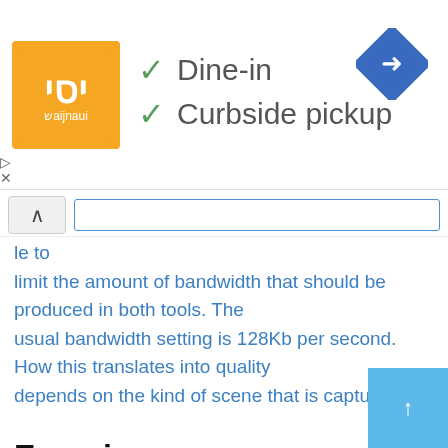[Figure (screenshot): Ad banner showing a restaurant logo (orange square with decorative text), checkmarks for Dine-in and Curbside pickup, and a blue navigation diamond icon in the top right.]
✓ Dine-in
✓ Curbside pickup
le to limit the amount of bandwidth that should be produced in both tools. The usual bandwidth setting is 128Kb per second. How this translates into quality depends on the kind of scene that is captured.
Experiences
During the lifetime of MBone, a fair number of problems have been encountered.